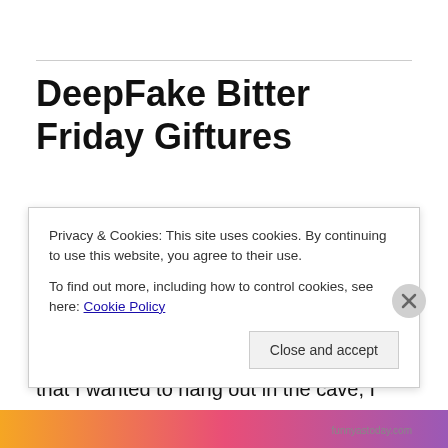DeepFake Bitter Friday Giftures
The reason I know that I was meant to live in this period of history, is because this is the best time period to be lazy. Imagine me trying to get away with being lazy in Jurassic Park era. As soon as I decided that I wanted to hang out in the cave, I would be eaten. Or I would try to run, and I would get eaten. Or I would stay in the cave too long and
Privacy & Cookies: This site uses cookies. By continuing to use this website, you agree to their use.
To find out more, including how to control cookies, see here: Cookie Policy
Close and accept